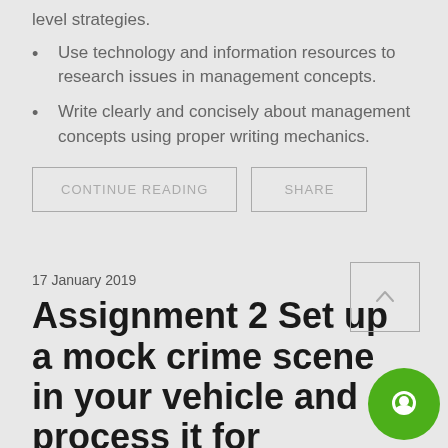level strategies.
Use technology and information resources to research issues in management concepts.
Write clearly and concisely about management concepts using proper writing mechanics.
17 January 2019
Assignment 2 Set up a mock crime scene in your vehicle and process it for evidence as you would at a real burglary to motor vehicle